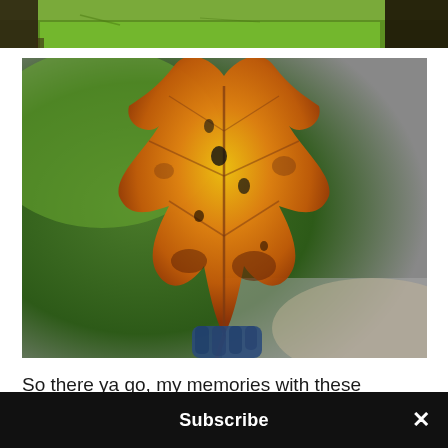[Figure (photo): Partial top strip of a photo showing green grass and tree trunks]
[Figure (photo): Close-up photo of a golden-yellow autumn maple leaf held by fingers against a blurred green and grey background]
So there ya go, my memories with these beautiful Olympus lenses which are now all on sale for
Subscribe ×